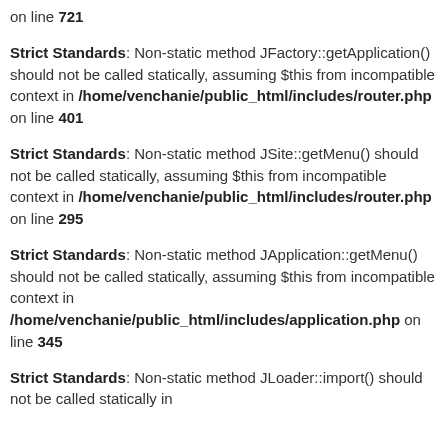on line 721
Strict Standards: Non-static method JFactory::getApplication() should not be called statically, assuming $this from incompatible context in /home/venchanie/public_html/includes/router.php on line 401
Strict Standards: Non-static method JSite::getMenu() should not be called statically, assuming $this from incompatible context in /home/venchanie/public_html/includes/router.php on line 295
Strict Standards: Non-static method JApplication::getMenu() should not be called statically, assuming $this from incompatible context in /home/venchanie/public_html/includes/application.php on line 345
Strict Standards: Non-static method JLoader::import() should not be called statically in